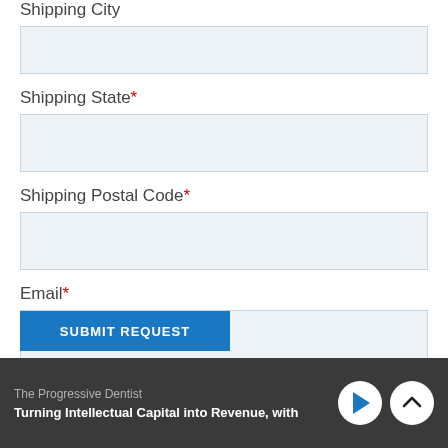Shipping City
Shipping State*
Shipping Postal Code*
Email*
SUBMIT REQUEST
The Progressive Dentist — Turning Intellectual Capital into Revenue, with